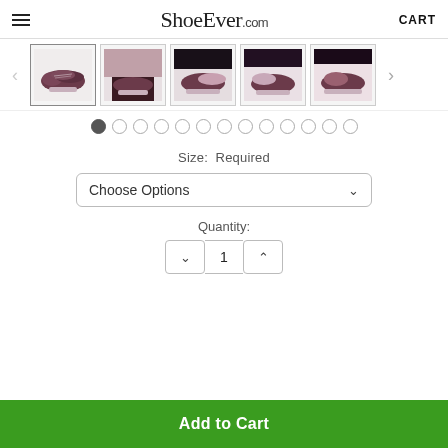ShoeEver.com   CART
[Figure (photo): Row of 5 product thumbnail images of dark purple/maroon slip-on sneakers, with left and right navigation arrows]
[Figure (other): Carousel pagination dots — 13 circles, first one filled/active]
Size:  Required
Choose Options
Quantity:
1
Add to Cart